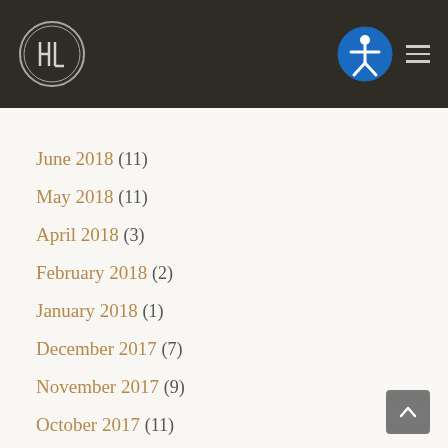HL logo and navigation header
June 2018 (11)
May 2018 (11)
April 2018 (3)
February 2018 (2)
January 2018 (1)
December 2017 (7)
November 2017 (9)
October 2017 (11)
September 2017 (10)